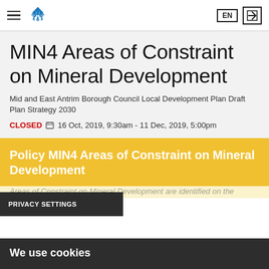MIN4 Areas of Constraint on Mineral Development — navigation bar with logo, EN language selector, and login icon
MIN4 Areas of Constraint on Mineral Development
Mid and East Antrim Borough Council Local Development Plan Draft Plan Strategy 2030
CLOSED  16 Oct, 2019, 9:30am - 11 Dec, 2019, 5:00pm
Policy MIN4 Areas of Constraint on Mineral Development
PRIVACY SETTINGS
We use cookies
Areas of Constraint on Mineral Development are identified on the District Proposals Maps.